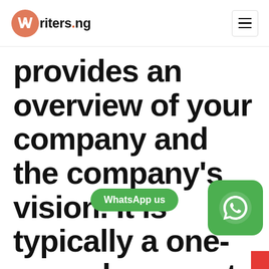Writers.ng
provides an overview of your company and the company's vision. It is typically a one-page document designed to be presented to potential investors.
[Figure (other): WhatsApp us button and WhatsApp icon badge]